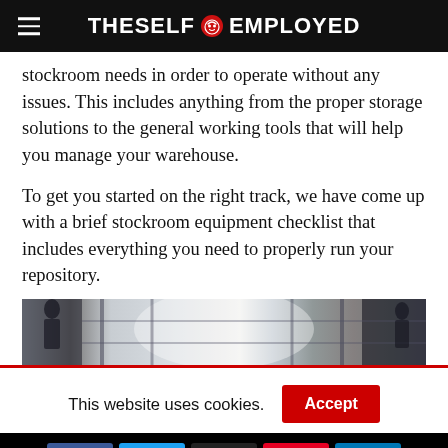THESELF EMPLOYED
stockroom needs in order to operate without any issues. This includes anything from the proper storage solutions to the general working tools that will help you manage your warehouse.
To get you started on the right track, we have come up with a brief stockroom equipment checklist that includes everything you need to properly run your repository.
[Figure (photo): Warehouse interior showing shelving and storage racks from a low angle perspective]
This website uses cookies.
Accept
[Figure (other): Social share buttons: Facebook, Twitter, Email, Pinterest, LinkedIn]